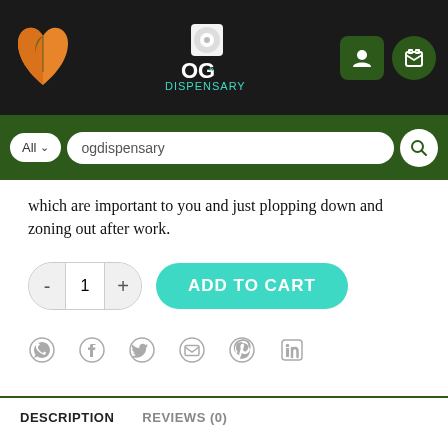OG DISPENSARY - header navigation bar
All  ogdispensary
which are important to you and just plopping down and zoning out after work.
ADD TO CART
[Figure (screenshot): Social share icons: WhatsApp, Facebook, Twitter, Email, Pinterest, LinkedIn]
DESCRIPTION
REVIEWS (0)